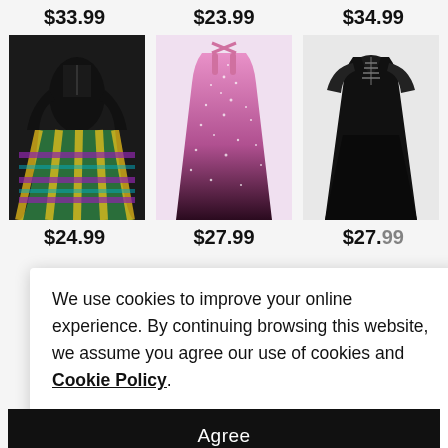$33.99   $23.99   $34.99
[Figure (photo): Three dress product images: left is a black and colorful plaid flare dress, center is a pink/purple glitter ombre spaghetti strap dress, right is a black short sleeve lace-up flare dress]
$24.99   $27.99   $27.99
We use cookies to improve your online experience. By continuing browsing this website, we assume you agree our use of cookies and Cookie Policy.
Agree